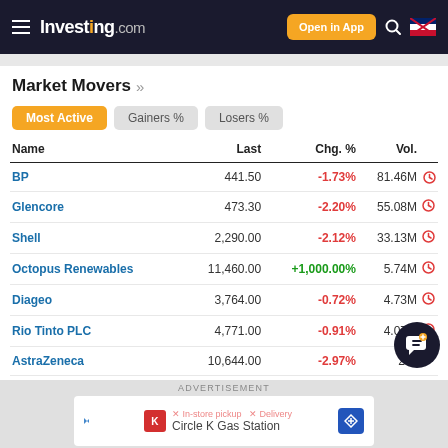Investing.com — Open in App
Market Movers »
Most Active | Gainers % | Losers %
| Name | Last | Chg. % | Vol. |
| --- | --- | --- | --- |
| BP | 441.50 | -1.73% | 81.46M |
| Glencore | 473.30 | -2.20% | 55.08M |
| Shell | 2,290.00 | -2.12% | 33.13M |
| Octopus Renewables | 11,460.00 | +1,000.00% | 5.74M |
| Diageo | 3,764.00 | -0.72% | 4.73M |
| Rio Tinto PLC | 4,771.00 | -0.91% | 4.07M |
| AstraZeneca | 10,644.00 | -2.97% | 2… |
ADVERTISEMENT
Circle K Gas Station